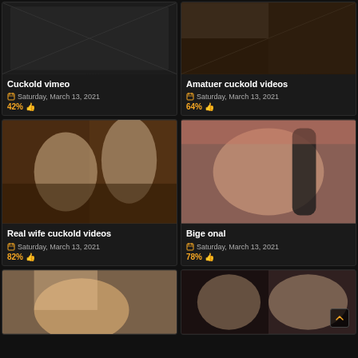[Figure (photo): Adult content thumbnail - top left card]
Cuckold vimeo
Saturday, March 13, 2021
42%
[Figure (photo): Adult content thumbnail - top right card]
Amatuer cuckold videos
Saturday, March 13, 2021
64%
[Figure (photo): Adult content thumbnail - middle left card]
Real wife cuckold videos
Saturday, March 13, 2021
82%
[Figure (photo): Adult content thumbnail - middle right card]
Bige onal
Saturday, March 13, 2021
78%
[Figure (photo): Adult content thumbnail - bottom left card]
[Figure (photo): Adult content thumbnail - bottom right card]